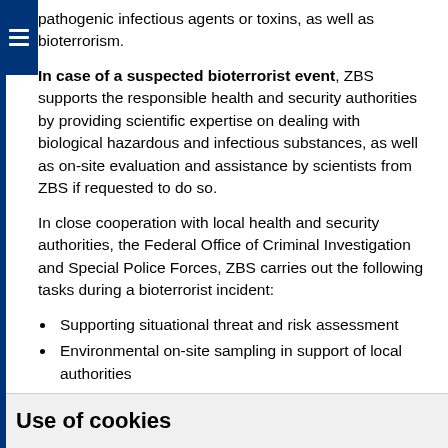pathogenic infectious agents or toxins, as well as bioterrorism.
In case of a suspected bioterrorist event, ZBS supports the responsible health and security authorities by providing scientific expertise on dealing with biological hazardous and infectious substances, as well as on-site evaluation and assistance by scientists from ZBS if requested to do so.
In close cooperation with local health and security authorities, the Federal Office of Criminal Investigation and Special Police Forces, ZBS carries out the following tasks during a bioterrorist incident:
Supporting situational threat and risk assessment
Environmental on-site sampling in support of local authorities
Diagnostic verification and characterization of the
Use of cookies